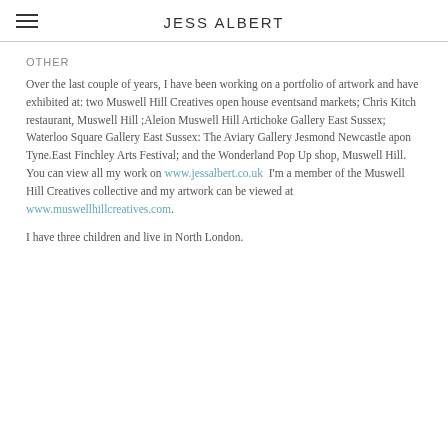JESS ALBERT
OTHER
Over the last couple of years, I have been working on a portfolio of artwork and have exhibited at: two Muswell Hill Creatives open house eventsand markets; Chris Kitch restaurant, Muswell Hill ;Aleion Muswell Hill Artichoke Gallery East Sussex; Waterloo Square Gallery East Sussex: The Aviary Gallery Jesmond Newcastle apon Tyne.East Finchley Arts Festival; and the Wonderland Pop Up shop, Muswell Hill.  You can view all my work on www.jessalbert.co.uk  I'm a member of the Muswell Hill Creatives collective and my artwork can be viewed at www.muswellhillcreatives.com.
I have three children and live in North London.